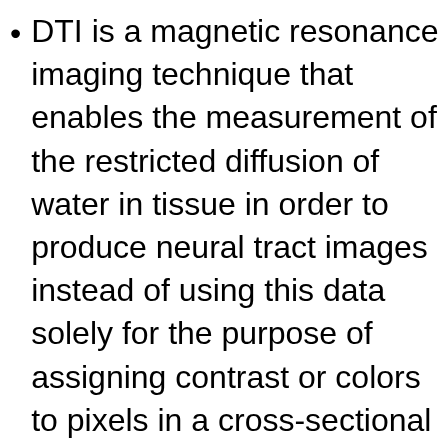DTI is a magnetic resonance imaging technique that enables the measurement of the restricted diffusion of water in tissue in order to produce neural tract images instead of using this data solely for the purpose of assigning contrast or colors to pixels in a cross-sectional image. The advantage in layman’s terms is DTIs makes it possible to estimate the location, orientation, and anisotropy of the brain’s white matter tracts. By doing this, it allows a true view of damage to these areas. It was first offered in 1991 and has gained a lot of